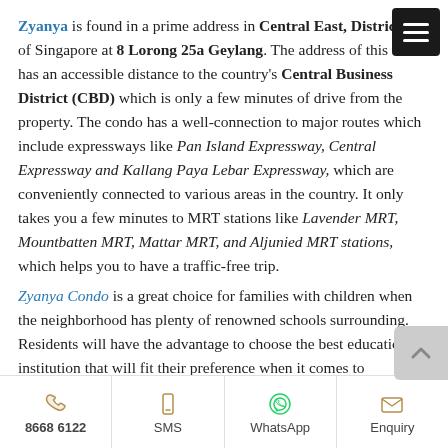Zyanya is found in a prime address in Central East, District 14 of Singapore at 8 Lorong 25a Geylang. The address of this condo has an accessible distance to the country's Central Business District (CBD) which is only a few minutes of drive from the property. The condo has a well-connection to major routes which include expressways like Pan Island Expressway, Central Expressway and Kallang Paya Lebar Expressway, which are conveniently connected to various areas in the country. It only takes you a few minutes to MRT stations like Lavender MRT, Mountbatten MRT, Mattar MRT, and Aljunied MRT stations, which helps you to have a traffic-free trip.
Zyanya Condo is a great choice for families with children when the neighborhood has plenty of renowned schools surrounding. Residents will have the advantage to choose the best educational institution that will fit their preference when it comes to education. Some of the schools in the
8668 6122 | SMS | WhatsApp | Enquiry